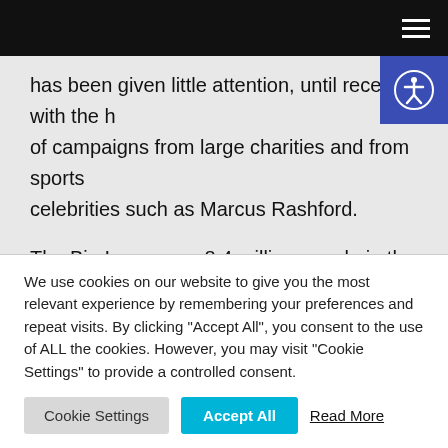[Navigation bar with hamburger menu]
has been given little attention, until recently, with the help of campaigns from large charities and from sports celebrities such as Marcus Rashford.
The Big Issue says 8.4 million people in the UK currently suffer from food poverty, that is equal to almost the entire population of London; these are scary figures. The Department of Health defines food poverty as someone
We use cookies on our website to give you the most relevant experience by remembering your preferences and repeat visits. By clicking "Accept All", you consent to the use of ALL the cookies. However, you may visit "Cookie Settings" to provide a controlled consent.